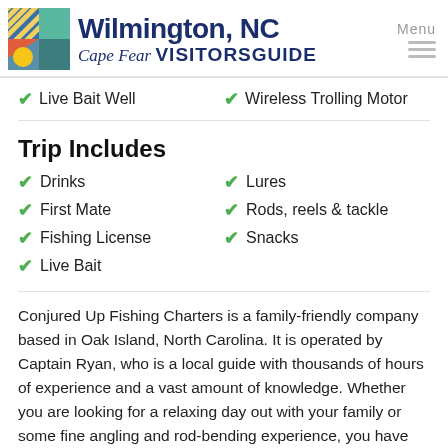[Figure (logo): Wilmington NC Cape Fear Visitors Guide logo with colorful grid squares and city name]
Live Bait Well
Wireless Trolling Motor
Trip Includes
Drinks
Lures
First Mate
Rods, reels & tackle
Fishing License
Snacks
Live Bait
Conjured Up Fishing Charters is a family-friendly company based in Oak Island, North Carolina. It is operated by Captain Ryan, who is a local guide with thousands of hours of experience and a vast amount of knowledge. Whether you are looking for a relaxing day out with your family or some fine angling and rod-bending experience, you have found the right guide.